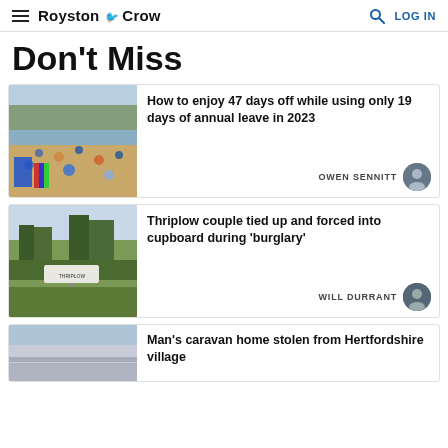Royston Crow | LOG IN
Don't Miss
[Figure (photo): People on a beach on a sunny day]
How to enjoy 47 days off while using only 19 days of annual leave in 2023
OWEN SENNITT
[Figure (photo): Country road sign for Thriplow village]
Thriplow couple tied up and forced into cupboard during 'burglary'
WILL DURRANT
[Figure (photo): Caravan/vehicle roof visible at bottom of page]
Man's caravan home stolen from Hertfordshire village